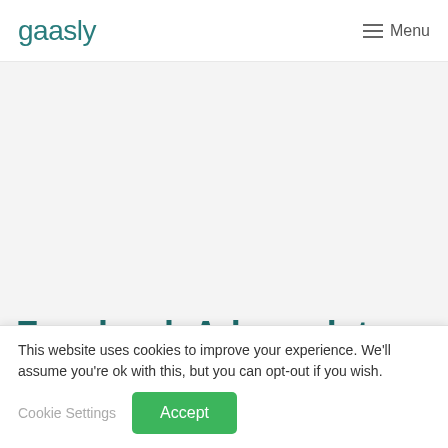gaasly  Menu
[Figure (other): Large blank/light grey hero image area below the navigation header]
Facebook Ads updates you may have missed in Q3 2021
This website uses cookies to improve your experience. We'll assume you're ok with this, but you can opt-out if you wish.  Cookie Settings  Accept